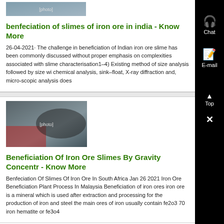[Figure (photo): Thumbnail image of a person near iron ore site, partially visible at top]
benfeciation of slimes of iron ore in india - Know More
26-04-2021· The challenge in beneficiation of Indian iron ore slime has been commonly discussed without proper emphasis on complexities associated with slime characterisation1–4) Existing method of size analysis followed by size wi chemical analysis, sink–float, X-ray diffraction and, micro-scopic analysis does
[Figure (photo): Image of iron ore beneficiation equipment - red and black machinery with water spraying]
Beneficiation Of Iron Ore Slimes By Gravity Concentr - Know More
Benfeciation Of Slimes Of Iron Ore In South Africa Jan 26 2021 Iron Ore Beneficiation Plant Process In Malaysia Beneficiation of iron ores iron ore is a mineral which is used after extraction and processing for the production of iron and steel the main ores of iron usually contain fe2o3 70 iron hematite or fe3o4